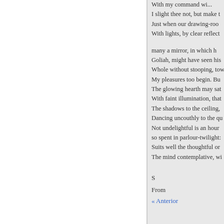I slight thee not, but make
Just when our drawing-roo
With lights, by clear reflect

   many a mirror, in which h
Goliah, might have seen hi
Whole without stooping, to
My pleasures too begin. Bu
The glowing hearth may sat
With faint illumination, tha
The shadows to the ceiling,
Dancing uncouthly to the qu
Not undelightful is an hour
so spent in parlour-twilight:
Suits well the thoughtful or
The mind contemplative, w
S
From
« Anterior